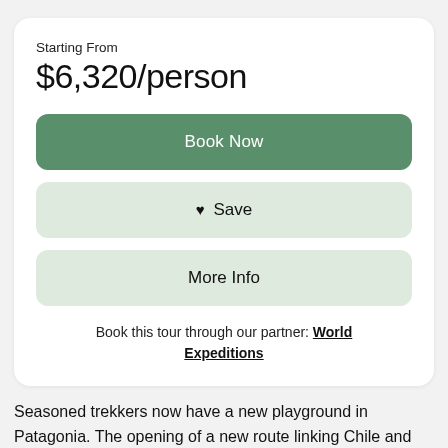Starting From
$6,320/person
Book Now
♥ Save
More Info
Book this tour through our partner: World Expeditions
Seasoned trekkers now have a new playground in Patagonia. The opening of a new route linking Chile and